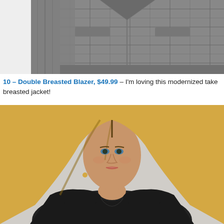[Figure (photo): Top portion of a grey plaid double breasted blazer on a white/light grey background]
10 – Double Breasted Blazer, $49.99 – I'm loving this modernized take breasted jacket!
[Figure (photo): Young blonde woman wearing a black double breasted blazer, looking at the camera]